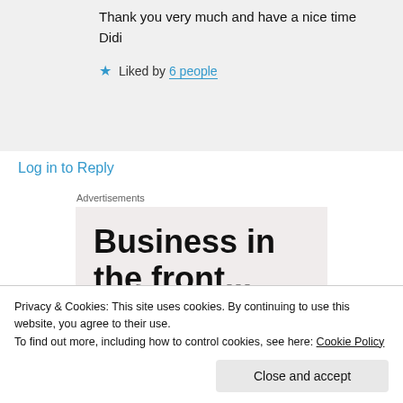Thank you very much and have a nice time
Didi
★ Liked by 6 people
Log in to Reply
Advertisements
Business in the front...
Privacy & Cookies: This site uses cookies. By continuing to use this website, you agree to their use.
To find out more, including how to control cookies, see here: Cookie Policy
Close and accept